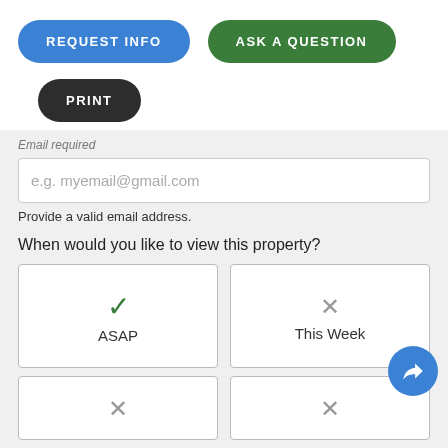REQUEST INFO
ASK A QUESTION
PRINT
Email  required
e.g. myemail@gmail.com
Provide a valid email address.
When would you like to view this property?
ASAP
This Week